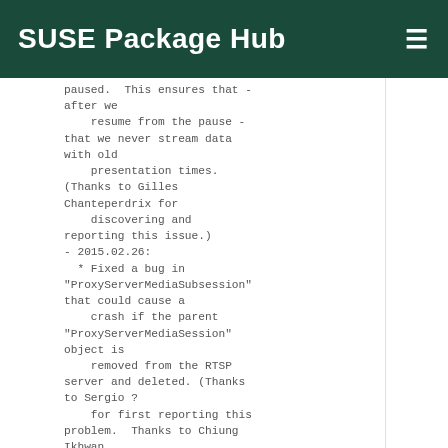SUSE Package Hub
paused.  This ensures that - after we
    resume from the pause - that we never stream data with old
    presentation times.
(Thanks to Gilles Chanteperdrix for
    discovering and reporting this issue.)
- 2015.02.26:
  * Fixed a bug in "ProxyServerMediaSubsession" that could cause a
    crash if the parent "ProxyServerMediaSession" object is
    removed from the RTSP server and deleted. (Thanks to Sergio ?
    for first reporting this problem.  Thanks to Chiung Ikhwan
    for discovering the source of the bug.)
- 2015.02.23:
  * Fixed a bug in

"OnDemandServerMediaSubsession::getCurrentNPT()".
    (Thanks to Gilles Chanteperdrix for noting this.)
- 2015.02.17: